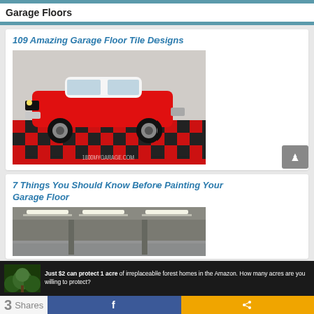Garage Floors
109 Amazing Garage Floor Tile Designs
[Figure (photo): Red classic car (1955 Chevrolet) parked on a black-and-red checkerboard garage floor tile. Watermark: 1800MYGARAGE.COM]
7 Things You Should Know Before Painting Your Garage Floor
[Figure (photo): Interior of a garage with painted gray floor and overhead fluorescent lighting]
Just $2 can protect 1 acre of irreplaceable forest homes in the Amazon. How many acres are you willing to protect?
3 Shares